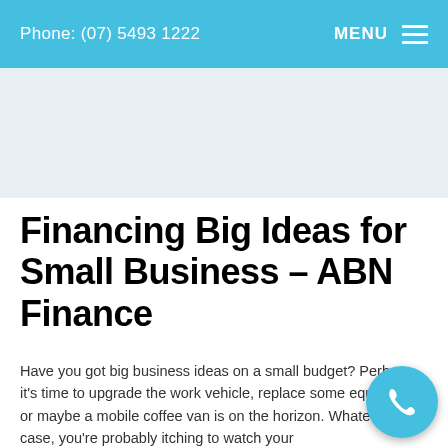Phone: (07) 5493 1222   MENU
[Figure (photo): Light grey hero/banner image area placeholder]
Financing Big Ideas for Small Business – ABN Finance
Have you got big business ideas on a small budget? Perhaps it's time to upgrade the work vehicle, replace some equipment or maybe a mobile coffee van is on the horizon. Whatever the case, you're probably itching to watch your